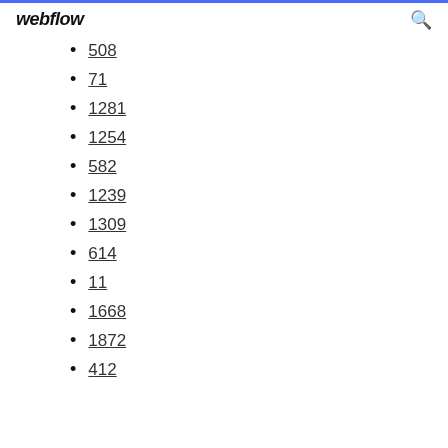webflow
508
71
1281
1254
582
1239
1309
614
11
1668
1872
412